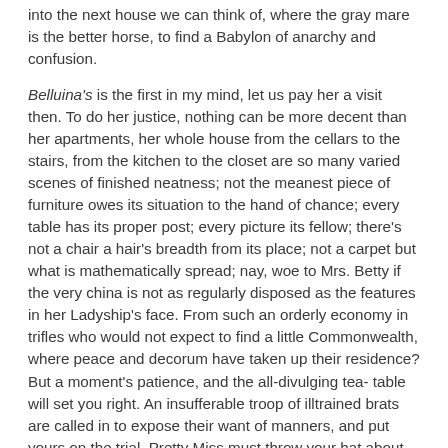into the next house we can think of, where the gray mare is the better horse, to find a Babylon of anarchy and confusion.
Belluina's is the first in my mind, let us pay her a visit then. To do her justice, nothing can be more decent than her apartments, her whole house from the cellars to the stairs, from the kitchen to the closet are so many varied scenes of finished neatness; not the meanest piece of furniture owes its situation to the hand of chance; every table has its proper post; every picture its fellow; there's not a chair a hair's breadth from its place; not a carpet but what is mathematically spread; nay, woe to Mrs. Betty if the very china is not as regularly disposed as the features in her Ladyship's face. From such an orderly economy in trifles who would not expect to find a little Commonwealth, where peace and decorum have taken up their residence? But a moment's patience, and the all-divulging tea- table will set you right. An insufferable troop of illtrained brats are called in to expose their want of manners, and put yours on the trial. Pretty Miss must throw your hat about, Master Jacky must put his fingers in your eyes, Charlie in you dish; and Tommy, her favorite for never doing what his father bids him, should offer to wipe his